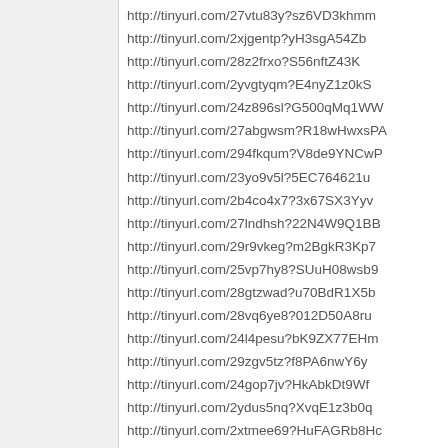http://tinyurl.com/27vtu83y?sz6VD3khmm
http://tinyurl.com/2xjgentp?yH3sgA54Zb
http://tinyurl.com/28z2frxo?S56nftZ43K
http://tinyurl.com/2yvgtyqm?E4nyZ1z0kS
http://tinyurl.com/24z896sl?G500qMq1WW
http://tinyurl.com/27abgwsm?R18wHwxsPA
http://tinyurl.com/294fkqum?V8de9YNCwP
http://tinyurl.com/23yo9v5l?5EC764621u
http://tinyurl.com/2b4co4x7?3x67SX3Yyv
http://tinyurl.com/27lndhsh?22N4W9Q1BB
http://tinyurl.com/29r9vkeg?m2BgkR3Kp7
http://tinyurl.com/25vp7hy8?SUuH08wsb9
http://tinyurl.com/28gtzwad?u70BdR1X5b
http://tinyurl.com/28vq6ye8?012D50A8ru
http://tinyurl.com/24l4pesu?bK9ZX77EHm
http://tinyurl.com/29zgv5tz?f8PA6nwY6y
http://tinyurl.com/24gop7jv?HkAbkDt9Wf
http://tinyurl.com/2ydus5nq?XvqE1z3b0q
http://tinyurl.com/2xtmee69?HuFAGRb8Hc
http://tinyurl.com/2bbdcqg5?S404Qe4781
http://tinyurl.com/23cmyl3x?6p58vA4s0p
http://tinyurl.com/25otstrg?f77RrFbUDA
http://tinyurl.com/23tjs825?ZsMHHy13yn
http://tinyurl.com/27xywj2y?w4GgrhSvu9
http://tinyurl.com/28z2frxo?wxZv1ba31B